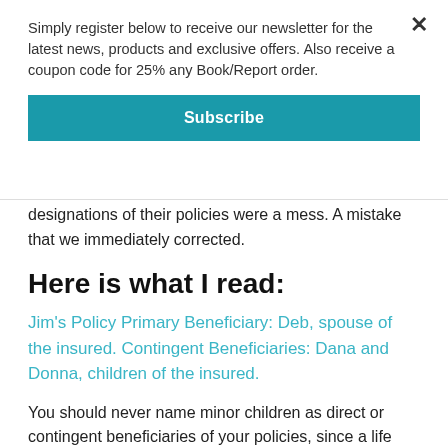Simply register below to receive our newsletter for the latest news, products and exclusive offers. Also receive a coupon code for 25% any Book/Report order.
Subscribe
designations of their policies were a mess. A mistake that we immediately corrected.
Here is what I read:
Jim's Policy Primary Beneficiary: Deb, spouse of the insured. Contingent Beneficiaries: Dana and Donna, children of the insured.
You should never name minor children as direct or contingent beneficiaries of your policies, since a life insurance company can't pay out proceeds directly to children until the children reach the age of majority.